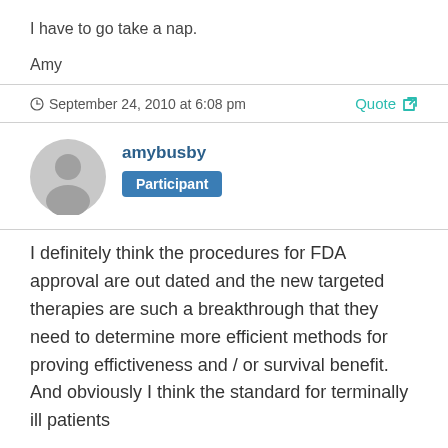I have to go take a nap.
Amy
September 24, 2010 at 6:08 pm
Quote
amybusby
Participant
I definitely think the procedures for FDA approval are out dated and the new targeted therapies are such a breakthrough that they need to determine more efficient methods for proving effictiveness and / or survival benefit. And obviously I think the standard for terminally ill patients